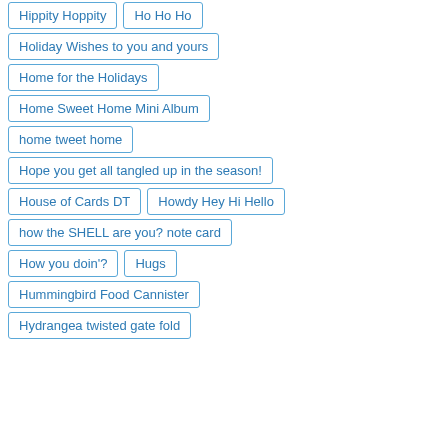Hippity Hoppity
Ho Ho Ho
Holiday Wishes to you and yours
Home for the Holidays
Home Sweet Home Mini Album
home tweet home
Hope you get all tangled up in the season!
House of Cards DT
Howdy Hey Hi Hello
how the SHELL are you? note card
How you doin'?
Hugs
Hummingbird Food Cannister
Hydrangea twisted gate fold